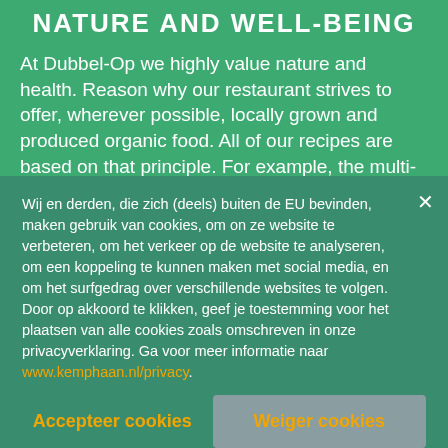NATURE AND WELL-BEING
At Dubbel-Op we highly value nature and health. Reason why our restaurant strives to offer, wherever possible, locally grown and produced organic food. All of our recipes are based on that principle. For example, the multi-grain flour is delivered by the grain mill “De Maagd” from Hulshorst. The plates are made of paper and 100% bio-degradable. That also means that the dishes...
Wij en derden, die zich (deels) buiten de EU bevinden, maken gebruik van cookies, om on ze website te verbeteren, om het verkeer op de website te analyseren, om een koppeling te kunnen maken met social media, en om het surfgedrag over verschillende websites te volgen. Door op akkoord te klikken, geef je toestemming voor het plaatsen van alle cookies zoals omschreven in onze privacyverklaring. Ga voor meer informatie naar www.kemphaan.nl/privacy.
Accepteer cookies
Weiger cookies